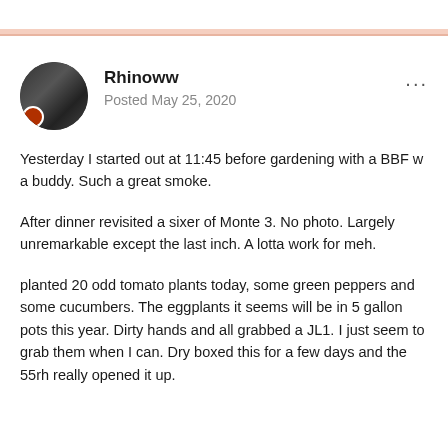Rhinoww
Posted May 25, 2020
Yesterday I started out at 11:45 before gardening with a BBF w a buddy. Such a great smoke.
After dinner revisited a sixer of Monte 3. No photo. Largely unremarkable except the last inch. A lotta work for meh.
planted 20 odd tomato plants today, some green peppers and some cucumbers. The eggplants it seems will be in 5 gallon pots this year. Dirty hands and all grabbed a JL1. I just seem to grab them when I can. Dry boxed this for a few days and the 55rh really opened it up.